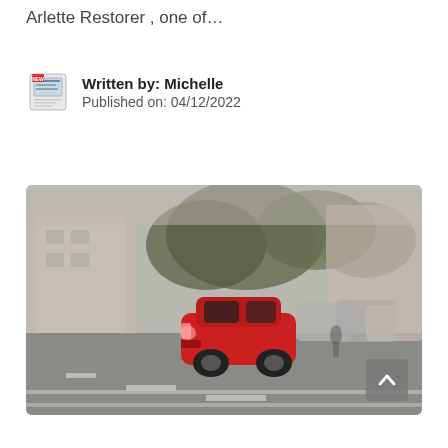Arlette Restorer , one of…
Written by: Michelle
Published on: 04/12/2022
[Figure (photo): A blurry street scene showing a red SUV driving on a road, with parked cars and buildings in the background. Motion blur visible. A scroll-to-top button (chevron up) is visible in the bottom-right corner of the image.]